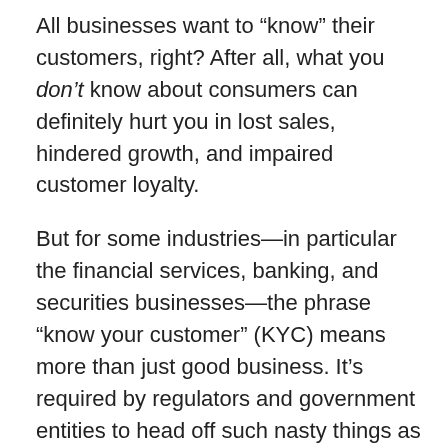All businesses want to “know” their customers, right? After all, what you don’t know about consumers can definitely hurt you in lost sales, hindered growth, and impaired customer loyalty.
But for some industries—in particular the financial services, banking, and securities businesses—the phrase “know your customer” (KYC) means more than just good business. It’s required by regulators and government entities to head off such nasty things as money laundering, terrorist funding, corruption, and fraud.
In the U.S., KYC is mandatory for all banks, required as part of the Patriot Act as well as regulations regarding the tracking of “politically exposed persons,” AKA potentially dangerous characters. Banks also must seek to verify the